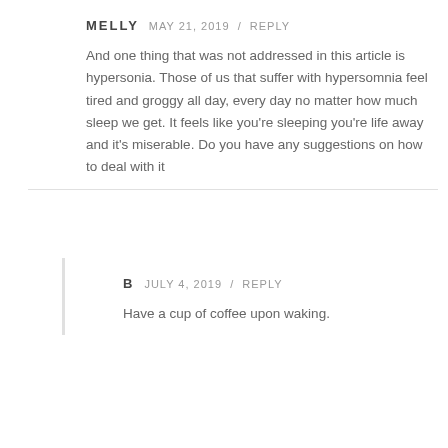MELLY  MAY 21, 2019 / REPLY
And one thing that was not addressed in this article is hypersonia. Those of us that suffer with hypersomnia feel tired and groggy all day, every day no matter how much sleep we get. It feels like you're sleeping you're life away and it's miserable. Do you have any suggestions on how to deal with it
B  JULY 4, 2019 / REPLY
Have a cup of coffee upon waking.